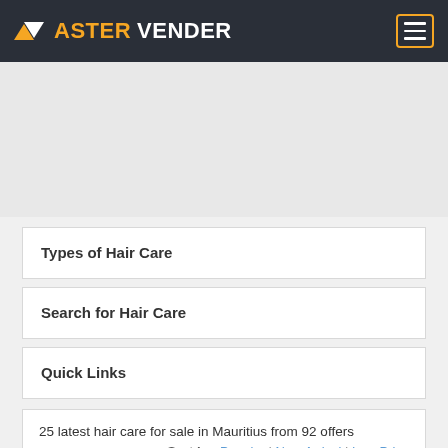ASTERVENDER
Types of Hair Care
Search for Hair Care
Quick Links
25 latest hair care for sale in Mauritius from 92 offers
Sort by: Popular | New Arrival | Low Price